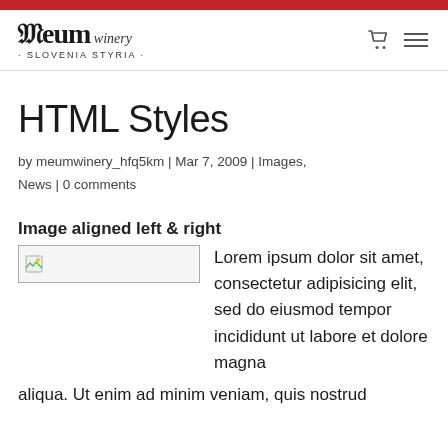Meum winery · Slovenia Styria
HTML Styles
by meumwinery_hfq5km | Mar 7, 2009 | Images, News | 0 comments
Image aligned left & right
[Figure (photo): Placeholder image aligned left]
Lorem ipsum dolor sit amet, consectetur adipisicing elit, sed do eiusmod tempor incididunt ut labore et dolore magna aliqua. Ut enim ad minim veniam, quis nostrud